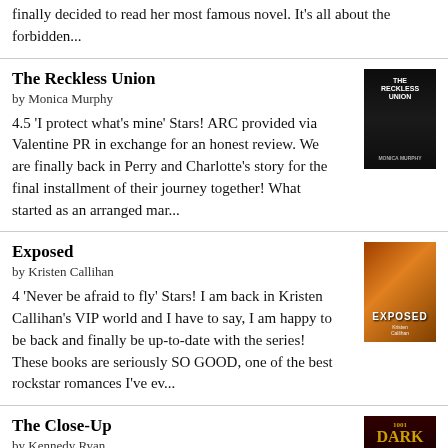finally decided to read her most famous novel. It's all about the forbidden...
The Reckless Union
by Monica Murphy
4.5 'I protect what's mine' Stars! ARC provided via Valentine PR in exchange for an honest review. We are finally back in Perry and Charlotte's story for the final installment of their journey together! What started as an arranged mar...
[Figure (photo): Book cover of The Reckless Union by Monica Murphy, dark background with title text]
Exposed
by Kristen Callihan
4 'Never be afraid to fly' Stars! I am back in Kristen Callihan's VIP world and I have to say, I am happy to be back and finally be up-to-date with the series! These books are seriously SO GOOD, one of the best rockstar romances I've ev...
[Figure (photo): Book cover of Exposed by Kristen Callihan, orange/fire tones with EXPOSED text]
The Close-Up
by Kennedy Ryan
4.5 'Pure sorcery' Stars! ARC provided via Social